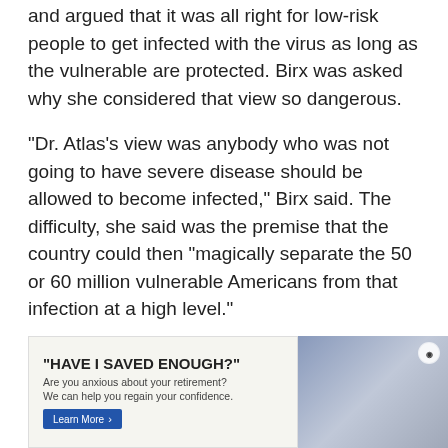and argued that it was all right for low-risk people to get infected with the virus as long as the vulnerable are protected. Birx was asked why she considered that view so dangerous.
“Dr. Atlas’s view was anybody who was not going to have severe disease should be allowed to become infected,” Birx said. The difficulty, she said was the premise that the country could then “magically separate the 50 or 60 million vulnerable Americans from that infection at a high level.”
She said that when Atlas and other officials espoused that view about the virus, it created doubts with the American public.
“It created a sense that anything could be right,” she said.
Birx als… …lesion in the r…
[Figure (other): Advertisement overlay: 'HAVE I SAVED ENOUGH?' retirement anxiety ad with Learn More button and image of elderly couple]